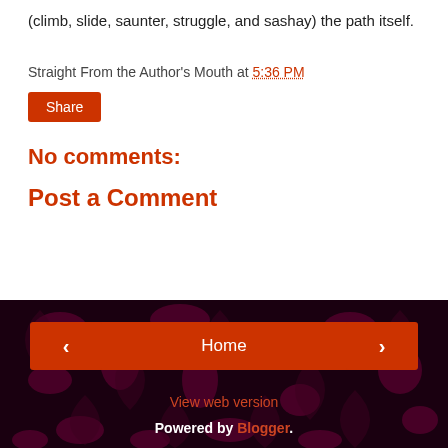(climb, slide, saunter, struggle, and sashay) the path itself.
Straight From the Author's Mouth at 5:36 PM
Share
No comments:
Post a Comment
Home | View web version | Powered by Blogger.